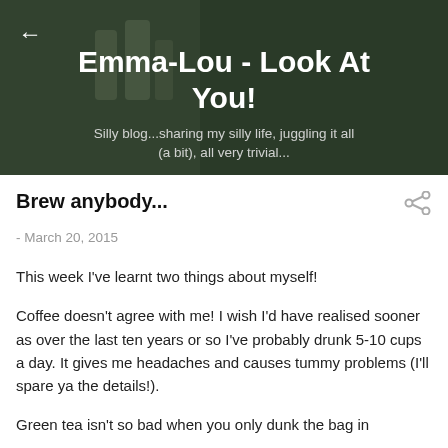[Figure (photo): Blog header photo showing glass jars and spices on a table with a hand in the background, dark overlay applied]
Emma-Lou - Look At You!
Silly blog...sharing my silly life, juggling it all (a bit), all very trivial...
Brew anybody...
- March 20, 2015
This week I've learnt two things about myself!
Coffee doesn't agree with me!  I wish I'd have realised sooner as over the last ten years or so I've probably drunk 5-10 cups a day.  It gives me headaches and causes tummy problems (I'll spare ya the details!).
Green tea isn't so bad when you only dunk the bag in